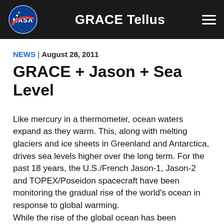GRACE Tellus
NEWS | August 28, 2011
GRACE + Jason + Sea Level
Like mercury in a thermometer, ocean waters expand as they warm. This, along with melting glaciers and ice sheets in Greenland and Antarctica, drives sea levels higher over the long term. For the past 18 years, the U.S./French Jason-1, Jason-2 and TOPEX/Poseidon spacecraft have been monitoring the gradual rise of the world's ocean in response to global warming.
While the rise of the global ocean has been remarkably steady for most of this time, every once in a while, sea level rise hits a speed bump. This past year, it's been